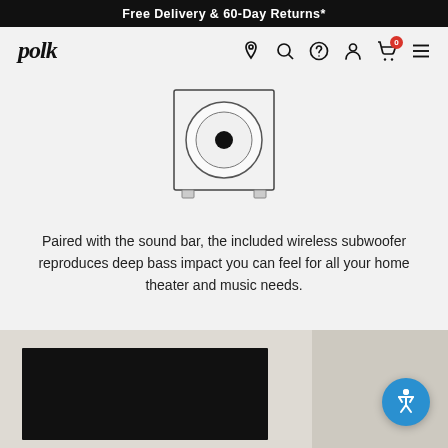Free Delivery & 60-Day Returns*
[Figure (logo): Polk Audio logo — italic bold text reading 'polk']
[Figure (illustration): Line drawing of a wireless subwoofer — rectangular cabinet with a large circular driver cone and small dust cap in the center, two small feet at bottom]
Paired with the sound bar, the included wireless subwoofer reproduces deep bass impact you can feel for all your home theater and music needs.
[Figure (photo): Bottom portion of page showing a large flatscreen TV (black screen) mounted above a light-colored surface, with a neutral beige/tan wall background. Divided into two panels.]